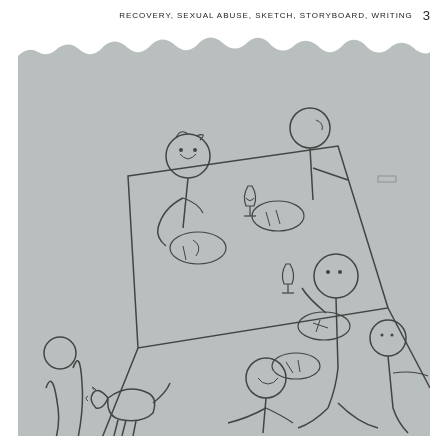RECOVERY, SEXUAL ABUSE, SKETCH, STORYBOARD, WRITING   3
[Figure (illustration): A pencil sketch on grey paper showing stick-figure people seated around a dinner table. The scene depicts approximately four figures around a rectangular table with plates, wine glasses, and cutlery drawn in simple line art. In the foreground bottom-left, a dog is drawn next to a seated figure. The sketch has a torn paper edge effect at the top, giving it a naturalistic look. The drawing style is loose and gestural, typical of storyboard or narrative illustration.]